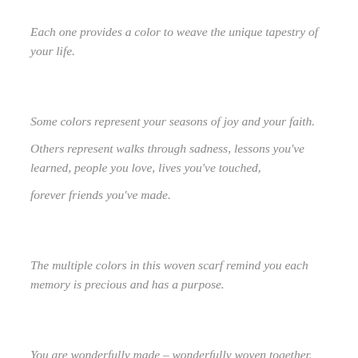Each one provides a color to weave the unique tapestry of your life.
Some colors represent your seasons of joy and your faith.
Others represent walks through sadness, lessons you've learned, people you love, lives you've touched,
forever friends you've made.
The multiple colors in this woven scarf remind you each memory is precious and has a purpose.
You are wonderfully made – wonderfully woven together.